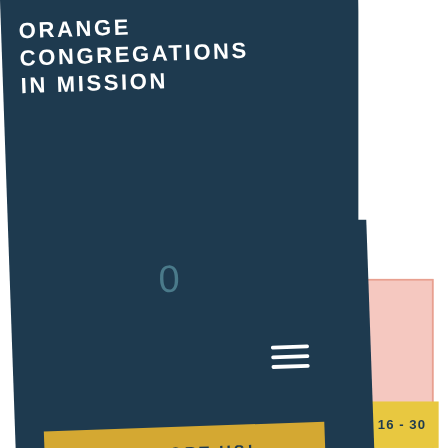ORANGE CONGREGATIONS IN MISSION
0
[Figure (screenshot): Website screenshot showing Orange Congregations In Mission organization page with a dark navy header card, a 'SUPPORT US!' yellow button, a pink card with laurel wreath design showing '40' and text 'Orange Congregations In Mission 1981', a blue circular more-options button, and a bottom banner reading 'BIDS OPEN AUG. 16 - 30']
SUPPORT US!
Orange Congregations In Mission 1981
BIDS OPEN AUG. 16 - 30